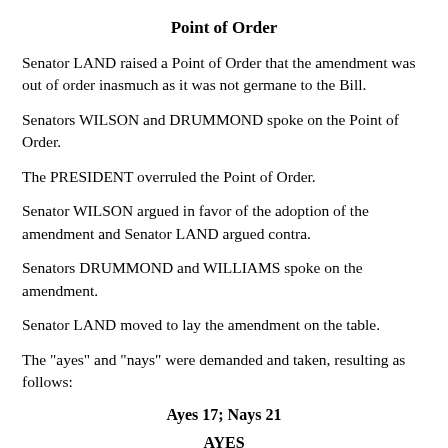Point of Order
Senator LAND raised a Point of Order that the amendment was out of order inasmuch as it was not germane to the Bill.
Senators WILSON and DRUMMOND spoke on the Point of Order.
The PRESIDENT overruled the Point of Order.
Senator WILSON argued in favor of the adoption of the amendment and Senator LAND argued contra.
Senators DRUMMOND and WILLIAMS spoke on the amendment.
Senator LAND moved to lay the amendment on the table.
The "ayes" and "nays" were demanded and taken, resulting as follows:
Ayes 17; Nays 21
AYES